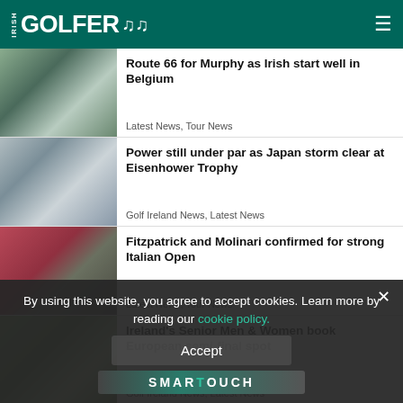IRISH GOLFER
Route 66 for Murphy as Irish start well in Belgium
Latest News, Tour News
Power still under par as Japan storm clear at Eisenhower Trophy
Golf Ireland News, Latest News
Fitzpatrick and Molinari confirmed for strong Italian Open
Latest News, Tour News
Ireland's Senior Men & Women book European semi-final spot
Golf Ireland News, Latest News
By using this website, you agree to accept cookies. Learn more by reading our cookie policy.
Accept